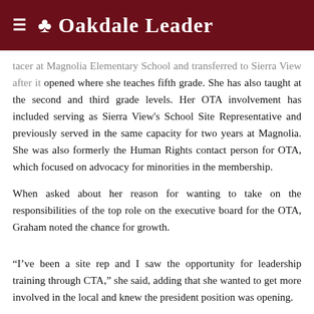Oakdale Leader
tacer at Magnolia Elementary School and transferred to Sierra View after it opened where she teaches fifth grade. She has also taught at the second and third grade levels. Her OTA involvement has included serving as Sierra View's School Site Representative and previously served in the same capacity for two years at Magnolia. She was also formerly the Human Rights contact person for OTA, which focused on advocacy for minorities in the membership.
When asked about her reason for wanting to take on the responsibilities of the top role on the executive board for the OTA, Graham noted the chance for growth.
“I’ve been a site rep and I saw the opportunity for leadership training through CTA,” she said, adding that she wanted to get more involved in the local and knew the president position was opening.
While Graham wanted to get more involved and serve on the executive board,